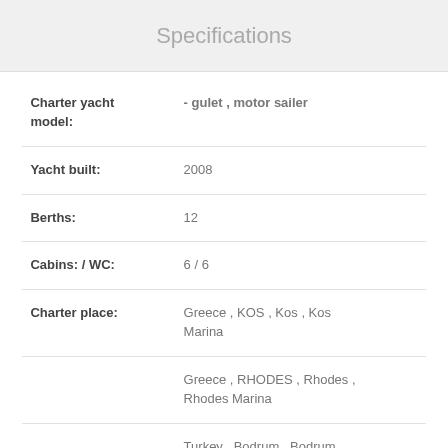Specifications
| Field | Value |
| --- | --- |
| Charter yacht model: | - gulet , motor sailer |
| Yacht built: | 2008 |
| Berths: | 12 |
| Cabins: / WC: | 6 / 6 |
| Charter place: | Greece , KOS , Kos , Kos Marina |
|  | Greece , RHODES , Rhodes , Rhodes Marina |
|  | Turkey , Bodrum , Bodrum |
|  | Turkey , Göcek , Göcek Marina |
|  | Turkey , Marmaris , Marmaris |